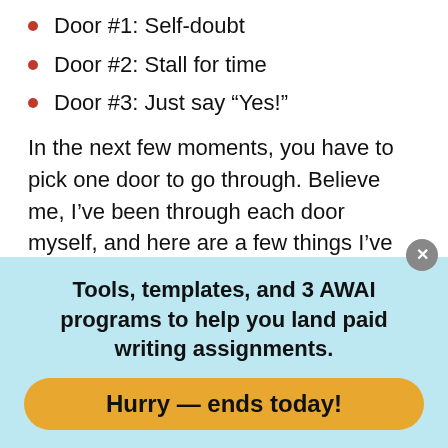Door #1: Self-doubt
Door #2: Stall for time
Door #3: Just say “Yes!”
In the next few moments, you have to pick one door to go through. Believe me, I’ve been through each door myself, and here are a few things I’ve learned.
Door #1: Self-doubt
Tools, templates, and 3 AWAI programs to help you land paid writing assignments.
Hurry — ends today!